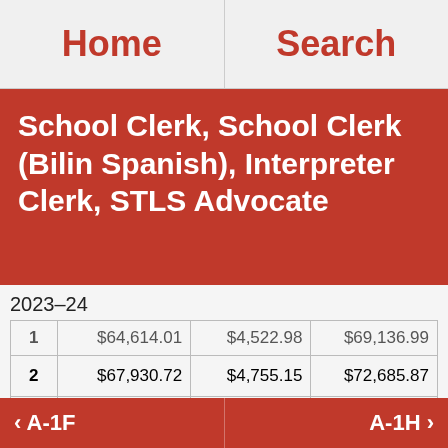Home   Search
School Clerk, School Clerk (Bilin Spanish), Interpreter Clerk, STLS Advocate
2023–24
|  |  |  |  |
| --- | --- | --- | --- |
| 1 | $64,614.01 | $4,522.98 | $69,136.99 |
| 2 | $67,930.72 | $4,755.15 | $72,685.87 |
| 3 | $71,417.68 | $4,999.24 | $76,416.92 |
‹ A-1F   A-1H ›